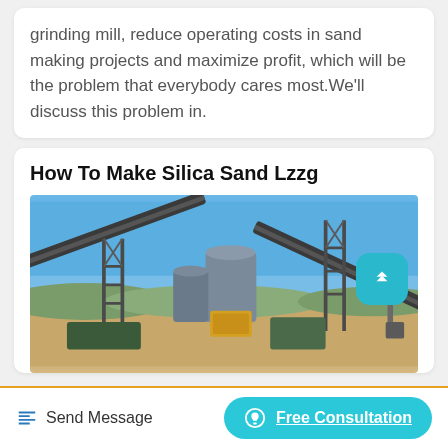grinding mill, reduce operating costs in sand making projects and maximize profit, which will be the problem that everybody cares most.We'll discuss this problem in.
How To Make Silica Sand Lzzg
[Figure (photo): Aerial/side view of an industrial silica sand processing plant with conveyor belts, crushers, and machinery against a blue sky and sandy terrain.]
Send Message
Free Consultation